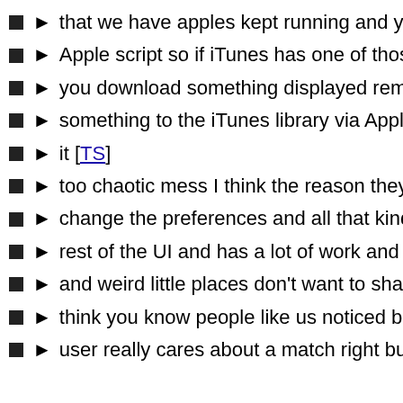that we have apples kept running and you've got a iTunes m
Apple script so if iTunes has one of those those dialogues in
you download something displayed remaining an app that w
something to the iTunes library via AppleScript it won't just fa
it [TS]
too chaotic mess I think the reason they keep it is because i
change the preferences and all that kind of stuff to be async
rest of the UI and has a lot of work and it probably will expo
and weird little places don't want to shake out for the sake o
think you know people like us noticed but I don't think that th
user really cares about a match right but you know you can